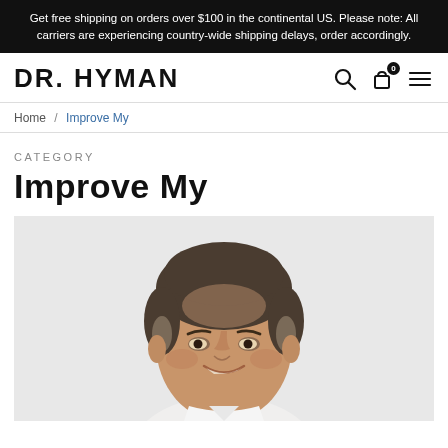Get free shipping on orders over $100 in the continental US. Please note: All carriers are experiencing country-wide shipping delays, order accordingly.
DR. HYMAN
Home / Improve My
CATEGORY
Improve My
[Figure (photo): Portrait photo of Dr. Hyman, a middle-aged man with dark salt-and-pepper hair, smiling, wearing a white shirt, on a light gray background.]